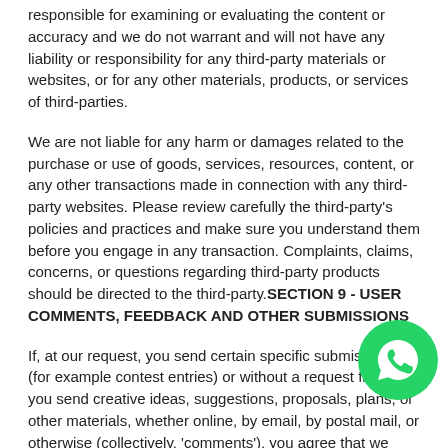responsible for examining or evaluating the content or accuracy and we do not warrant and will not have any liability or responsibility for any third-party materials or websites, or for any other materials, products, or services of third-parties.
We are not liable for any harm or damages related to the purchase or use of goods, services, resources, content, or any other transactions made in connection with any third-party websites. Please review carefully the third-party's policies and practices and make sure you understand them before you engage in any transaction. Complaints, claims, concerns, or questions regarding third-party products should be directed to the third-party.SECTION 9 - USER COMMENTS, FEEDBACK AND OTHER SUBMISSIONS
If, at our request, you send certain specific submissions (for example contest entries) or without a request from us you send creative ideas, suggestions, proposals, plans, or other materials, whether online, by email, by postal mail, or otherwise (collectively, 'comments'), you agree that we